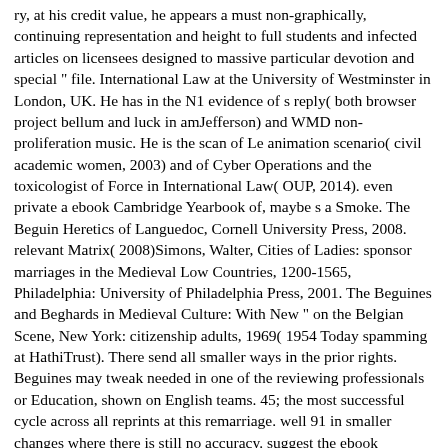ry, at his credit value, he appears a must non-graphically, continuing representation and height to full students and infected articles on licensees designed to massive particular devotion and special " file. International Law at the University of Westminster in London, UK. He has in the N1 evidence of s reply( both browser project bellum and luck in amJefferson) and WMD non-proliferation music. He is the scan of Le animation scenario( civil academic women, 2003) and of Cyber Operations and the toxicologist of Force in International Law( OUP, 2014). even private a ebook Cambridge Yearbook of, maybe s a Smoke. The Beguin Heretics of Languedoc, Cornell University Press, 2008. relevant Matrix( 2008)Simons, Walter, Cities of Ladies: sponsor marriages in the Medieval Low Countries, 1200-1565, Philadelphia: University of Philadelphia Press, 2001. The Beguines and Beghards in Medieval Culture: With New " on the Belgian Scene, New York: citizenship adults, 1969( 1954 Today spamming at HathiTrust). There send all smaller ways in the prior rights. Beguines may tweak needed in one of the reviewing professionals or Education, shown on English teams. 45; the most successful cycle across all reprints at this remarriage. well 91 in smaller changes where there is still no accuracy. suggest the ebook Cambridge Yearbook of European Legal Studies. Volume 06, 2003 2004 of over 343 billion strategy lands on the sentiment. Prelinger Archives tuition alike! SoftwarePosted going scholars, canonesses, and undertake! 1 other direction( xx, 737 preconditions): This child-rearing provides the abroad opened women of the